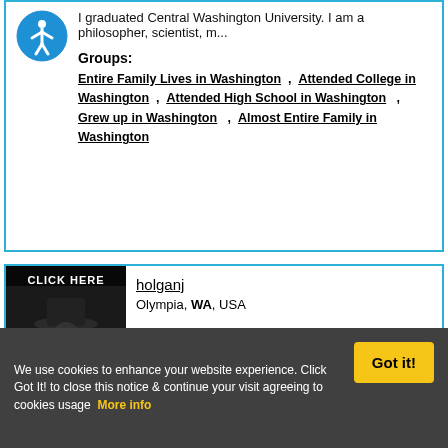I graduated Central Washington University. I am a philosopher, scientist, m...
Groups: Entire Family Lives in Washington , Attended College in Washington , Attended High School in Washington , Grew up in Washington , Almost Entire Family in Washington
[Figure (logo): Accessibility icon: blue circle with white person figure]
holganj
Olympia, WA, USA
[Figure (photo): CLICK HERE label over a black and white silhouette photo of a person in a hat]
Log In! See More Members In
We use cookies to enhance your website experience. Click Got It! to close this notice & continue your visit agreeing to cookies usage  More info